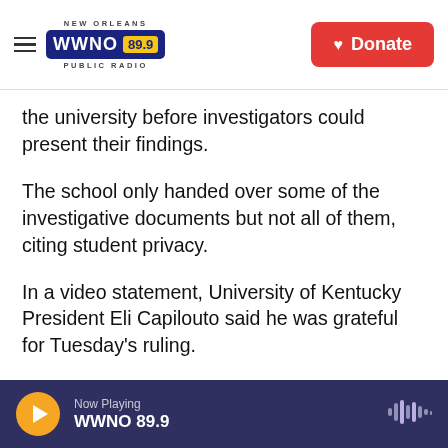NEW ORLEANS WWNO 89.9 PUBLIC RADIO | Donate
the university before investigators could present their findings.
The school only handed over some of the investigative documents but not all of them, citing student privacy.
In a video statement, University of Kentucky President Eli Capilouto said he was grateful for Tuesday's ruling.
"This is going to be helpful because I think it will encourage people to report, give us a greater opportunity through a process that ensures
Now Playing WWNO 89.9